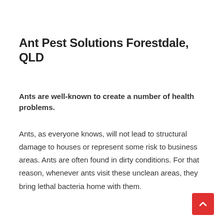Ant Pest Solutions Forestdale, QLD
Ants are well-known to create a number of health problems.
Ants, as everyone knows, will not lead to structural damage to houses or represent some risk to business areas. Ants are often found in dirty conditions. For that reason, whenever ants visit these unclean areas, they bring lethal bacteria home with them.